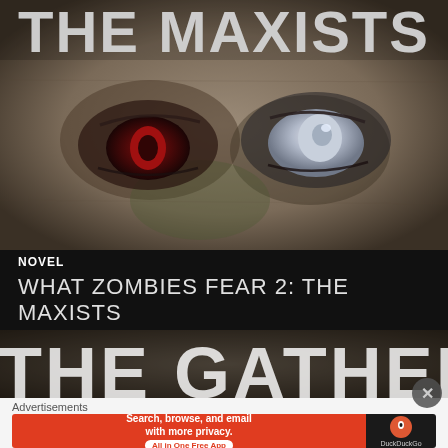[Figure (illustration): Book cover for 'What Zombies Fear 2: The Maxists' showing close-up of zombie face with mismatched eyes — one red/dark, one milky white — with large title text 'THE MAXISTS' across the top in bold white letters]
NOVEL
WHAT ZOMBIES FEAR 2: THE MAXISTS
[Figure (illustration): Partial bottom book cover showing large bold text 'THE GATHERING' with textured grunge background]
[Figure (screenshot): DuckDuckGo advertisement banner: 'Search, browse, and email with more privacy. All in One Free App' with DuckDuckGo logo on dark background]
Advertisements